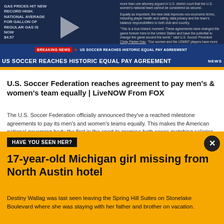[Figure (screenshot): News broadcast screenshot showing breaking news banner: US Soccer reaches historic equal pay agreement, with LIve Now from FOX branding. Bottom ticker shows China Eastern Airlines plane crash.]
U.S. Soccer Federation reaches agreement to pay men's & women's team equally | LiveNOW From FOX
The U.S. Soccer Federation officially announced they've a reached milestone agreements to pay its men's and women's teams equally. This makes the American national governing body the first in the sport to promise both sexes matching salaries and bonuses.
CHICAGO - The U.S. Soccer Federation reached milestone agreements to pay its men's and women's
17-year-old Michigan girl missing from North Austin hotel
HAVE YOU SEEN HER?
Destiny Wallag was last seen leaving the Spring Hill Suites on Stonelake Boulevard where she was staying with her father and brother on vacation.